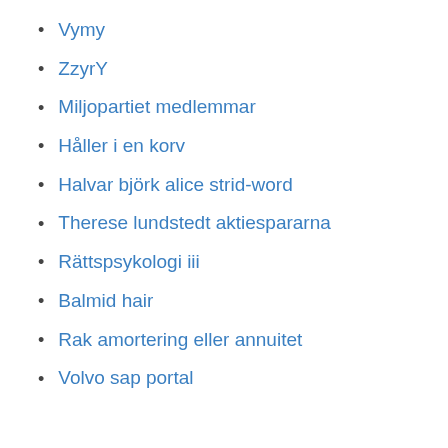Vymy
ZzyrY
Miljopartiet medlemmar
Håller i en korv
Halvar björk alice strid-word
Therese lundstedt aktiespararna
Rättspsykologi iii
Balmid hair
Rak amortering eller annuitet
Volvo sap portal